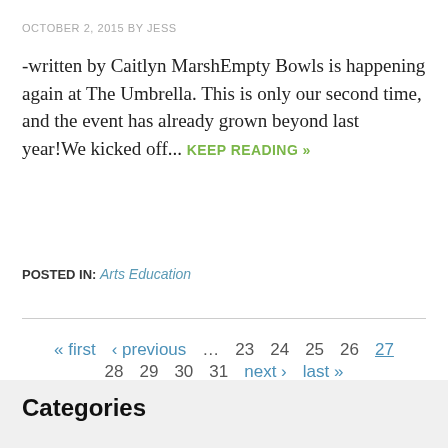OCTOBER 2, 2015 BY JESS
-written by Caitlyn MarshEmpty Bowls is happening again at The Umbrella. This is only our second time, and the event has already grown beyond last year!We kicked off... KEEP READING »
POSTED IN: Arts Education
« first ‹ previous … 23 24 25 26 27 28 29 30 31 next › last »
Categories